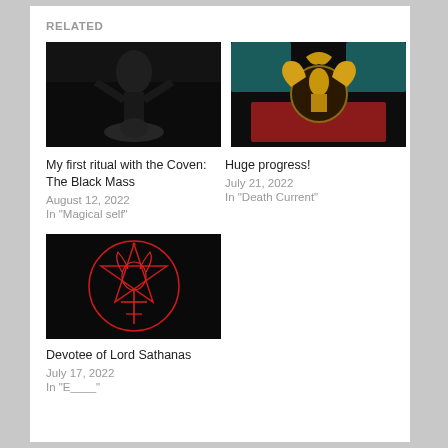RELATED
[Figure (photo): Black and white photo of a ritual scene with a figure and a skull]
My first ritual with the Coven: The Black Mass
August 12, 2022
In "Magical self"
[Figure (illustration): Colorful ornate illustration with golden mythical creatures and serpents on dark background]
Huge progress!
July 21, 2022
In "Death Current"
[Figure (illustration): Red pentagram symbol with goat head on black background]
Devotee of Lord Sathanas
July 17, 2022
In "E____"